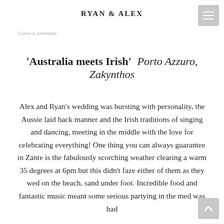RYAN & ALEX
Leave a comment
'Australia meets Irish'  Porto Azzuro, Zakynthos
Alex and Ryan's wedding was bursting with personality, the Aussie laid back manner and the Irish traditions of singing and dancing, meeting in the middle with the love for celebrating everything! One thing you can always guarantee in Zante is the fabulously scorching weather clearing a warm 35 degrees at 6pm but this didn't faze either of them as they wed on the beach, sand under foot. Incredible food and fantastic music meant some serious partying in the med was had